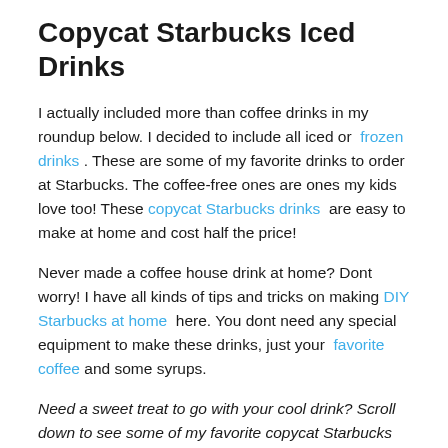Copycat Starbucks Iced Drinks
I actually included more than coffee drinks in my roundup below. I decided to include all iced or frozen drinks . These are some of my favorite drinks to order at Starbucks. The coffee-free ones are ones my kids love too! These copycat Starbucks drinks are easy to make at home and cost half the price!
Never made a coffee house drink at home? Dont worry! I have all kinds of tips and tricks on making DIY Starbucks at home here. You dont need any special equipment to make these drinks, just your favorite coffee and some syrups.
Need a sweet treat to go with your cool drink? Scroll down to see some of my favorite copycat Starbucks treats and